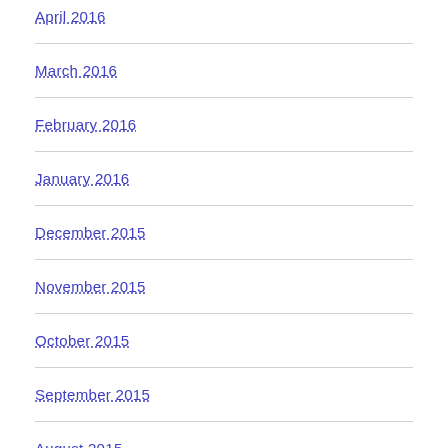April 2016
March 2016
February 2016
January 2016
December 2015
November 2015
October 2015
September 2015
August 2015
July 2015